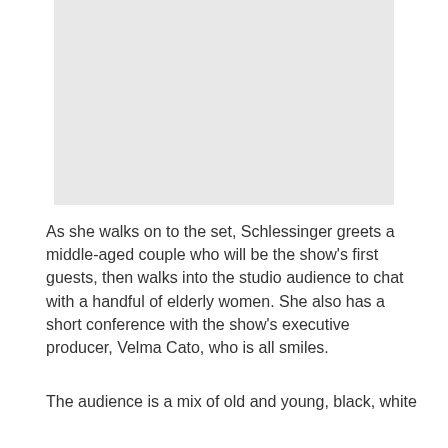[Figure (photo): A light gray rectangular placeholder image at the top center of the page]
As she walks on to the set, Schlessinger greets a middle-aged couple who will be the show’s first guests, then walks into the studio audience to chat with a handful of elderly women. She also has a short conference with the show’s executive producer, Velma Cato, who is all smiles.
The audience is a mix of old and young, black, white and Latino. More on them and on kind...